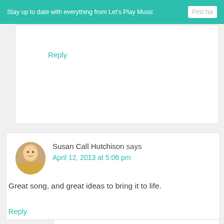Stay up to date with everything from Let's Play Music  First Na
Reply
Susan Call Hutchison says
April 12, 2013 at 5:06 pm
Great song, and great ideas to bring it to life.
Reply